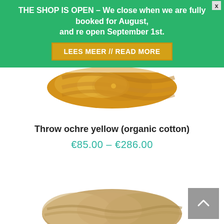THE SHOP IS OPEN – We close when we are fully booked for August, and re open September 1st.
LEES MEER // READ MORE
[Figure (photo): Partial view of a chunky ochre yellow braided/knotted textile throw from above, cropped]
Throw ochre yellow (organic cotton)
€85.00 – €286.00
[Figure (photo): Top view of a chunky knit or woven textile product in beige/ochre tones, partially visible at bottom of page]